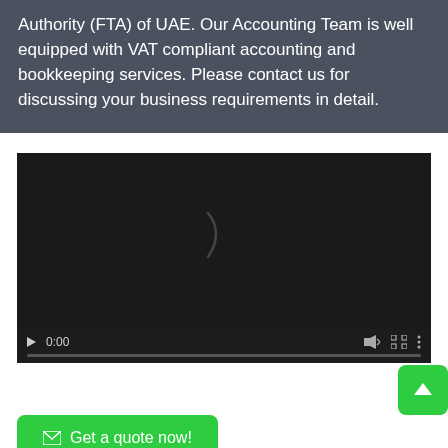Authority (FTA) of UAE. Our Accounting Team is well equipped with VAT compliant accounting and bookkeeping services. Please contact us for discussing your business requirements in detail.
[Figure (screenshot): Embedded video player with dark background showing a loading spinner arc, play button, 0:00 timestamp, volume icon, fullscreen icon, and more options icon, with a progress bar at the bottom.]
Get a quote now!